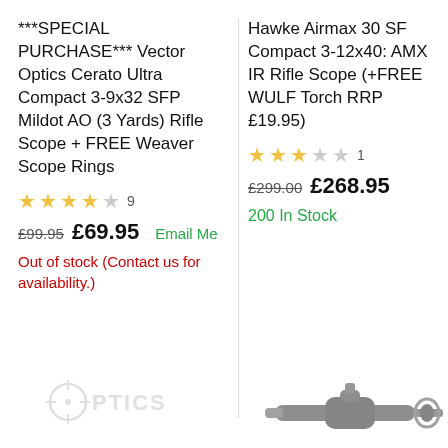***SPECIAL PURCHASE*** Vector Optics Cerato Ultra Compact 3-9x32 SFP Mildot AO (3 Yards) Rifle Scope + FREE Weaver Scope Rings
★★★★☆ 9
£99.95  £69.95  Email Me
Out of stock (Contact us for availability.)
Hawke Airmax 30 SF Compact 3-12x40: AMX IR Rifle Scope (+FREE WULF Torch RRP £19.95)
★★★☆☆ 1
£299.00  £268.95
200 In Stock
[Figure (logo): Optics store logo with crosshair/reticle icon]
[Figure (photo): Rifle scope product image, dark/black, partially visible]